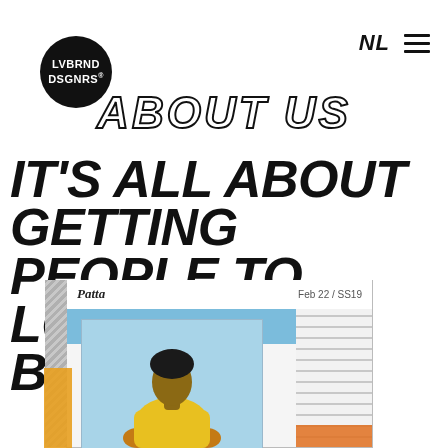[Figure (logo): LVBRND DSGNRS circular black logo badge]
NL ≡
ABOUT US
IT'S ALL ABOUT GETTING PEOPLE TO LOVE YOUR BRAND
[Figure (photo): Photo of a person in a yellow shirt displayed on a Patta branded card/poster, Feb 22 / SS19, mounted on a wall]